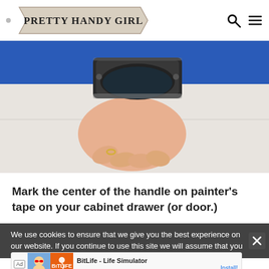PRETTY HANDY GIRL
[Figure (photo): A hand holding a dark matte black cup-pull cabinet handle against a light-colored cabinet surface with a blue stripe visible in the background.]
Mark the center of the handle on painter's tape on your cabinet drawer (or door.)
We use cookies to ensure that we give you the best experience on our website. If you continue to use this site we will assume that you
[Figure (screenshot): Advertisement banner for BitLife - Life Simulator app with Install button.]